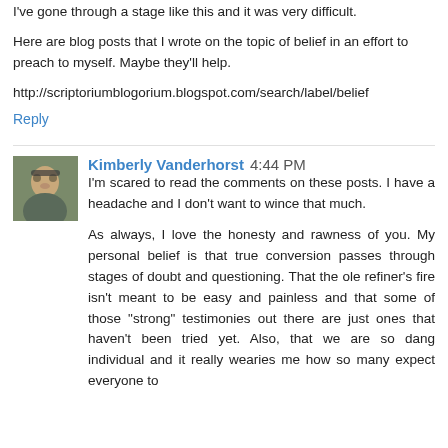I've gone through a stage like this and it was very difficult.
Here are blog posts that I wrote on the topic of belief in an effort to preach to myself. Maybe they'll help.
http://scriptoriumblogorium.blogspot.com/search/label/belief
Reply
Kimberly Vanderhorst 4:44 PM
I'm scared to read the comments on these posts. I have a headache and I don't want to wince that much.
As always, I love the honesty and rawness of you. My personal belief is that true conversion passes through stages of doubt and questioning. That the ole refiner's fire isn't meant to be easy and painless and that some of those "strong" testimonies out there are just ones that haven't been tried yet. Also, that we are so dang individual and it really wearies me how so many expect everyone to